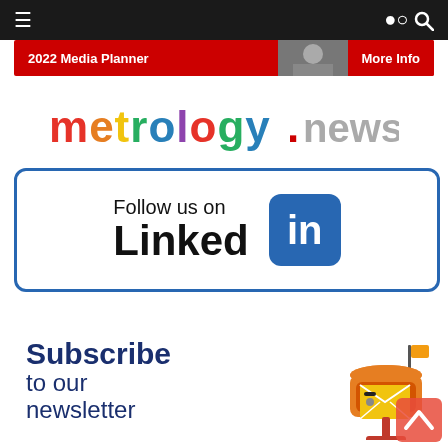[Figure (screenshot): Website navigation bar with hamburger menu icon and search icon on dark background]
[Figure (infographic): 2022 Media Planner advertisement banner with red background and More Info button]
[Figure (logo): metrology.news colorful logo text]
[Figure (infographic): Follow us on LinkedIn button with blue border and LinkedIn icon]
[Figure (infographic): Subscribe to our newsletter section with mailbox illustration and back-to-top arrow]